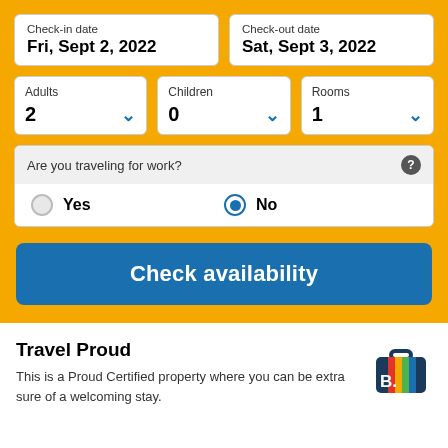Check-in date
Fri, Sept 2, 2022
Check-out date
Sat, Sept 3, 2022
Adults
2
Children
0
Rooms
1
Are you traveling for work?
Yes
No
Check availability
Travel Proud
This is a Proud Certified property where you can be extra sure of a welcoming stay.
[Figure (logo): Booking.com colorful suitcase logo with B. branding]